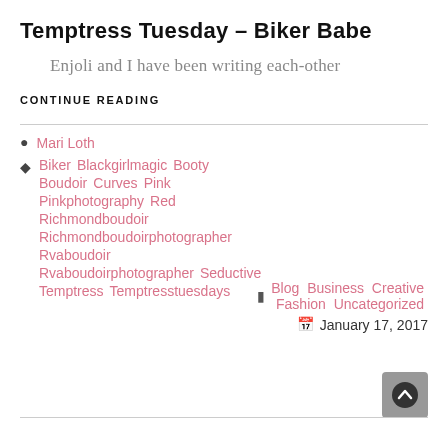Temptress Tuesday – Biker Babe
Enjoli and I have been writing each-other
CONTINUE READING
Mari Loth
Biker  Blackgirlmagic  Booty  Boudoir  Curves  Pink  Pinkphotography  Red  Richmondboudoir  Richmondboudoirphotographer  Rvaboudoir  Rvaboudoirphotographer  Seductive  Temptress  Temptresstuesdays
Blog  Business  Creative  Fashion  Uncategorized
January 17, 2017